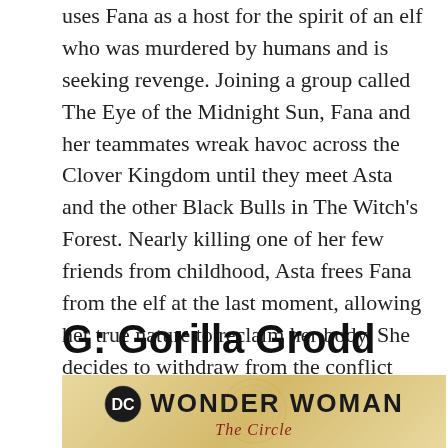uses Fana as a host for the spirit of an elf who was murdered by humans and is seeking revenge. Joining a group called The Eye of the Midnight Sun, Fana and her teammates wreak havoc across the Clover Kingdom until they meet Asta and the other Black Bulls in The Witch's Forest. Nearly killing one of her few friends from childhood, Asta frees Fana from the elf at the last moment, allowing her true nature to reclaim her body. She decides to withdraw from the conflict between The Eye of the Midnight Sun and the Magic Knights entirely and to see the world as she always intended.
G: Gorilla Grodd
[Figure (illustration): Cover of Wonder Woman: The Circle comic book, showing the Wonder Woman logo with DC Comics emblem and the subtitle 'The Circle' in italic script, on a warm golden/tan background.]